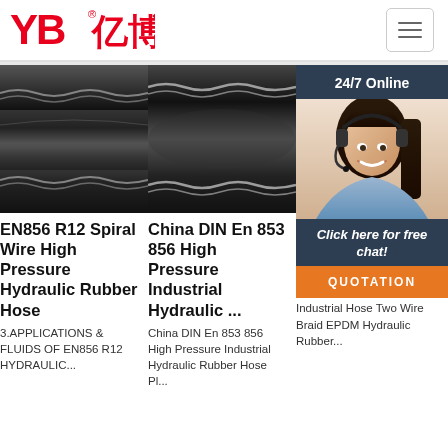[Figure (logo): YB亿博 logo in red with registered trademark symbol]
[Figure (screenshot): Hamburger menu button (three horizontal lines)]
[Figure (photo): EN856 R12 spiral wire high pressure hydraulic rubber hose close-up photo]
EN856 R12 Spiral Wire High Pressure Hydraulic Rubber Hose
3.APPLICATIONS & FLUIDS OF EN856 R12 HYDRAULIC...
[Figure (photo): China DIN En 853 856 high pressure industrial hydraulic hose close-up photo]
China DIN En 853 856 High Pressure Industrial Hydraulic ...
China DIN En 853 856 High Pressure Industrial Hydraulic Rubber Hose Pl...
[Figure (photo): Third hose product and customer service agent with headset - 24/7 Online chat widget]
Ch... Pr... Hose, High Pressure Hose
High Pressure High Impulse Industrial Hose Two Wire Braid EPDM Hydraulic Rubber...
Click here for free chat!
QUOTATION